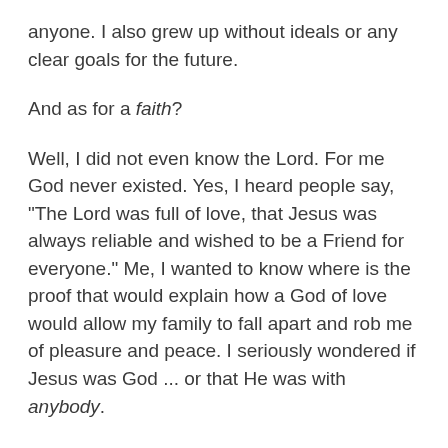anyone. I also grew up without ideals or any clear goals for the future.
And as for a faith?
Well, I did not even know the Lord. For me God never existed. Yes, I heard people say, "The Lord was full of love, that Jesus was always reliable and wished to be a Friend for everyone." Me, I wanted to know where is the proof that would explain how a God of love would allow my family to fall apart and rob me of pleasure and peace. I seriously wondered if Jesus was God ... or that He was with anybody.